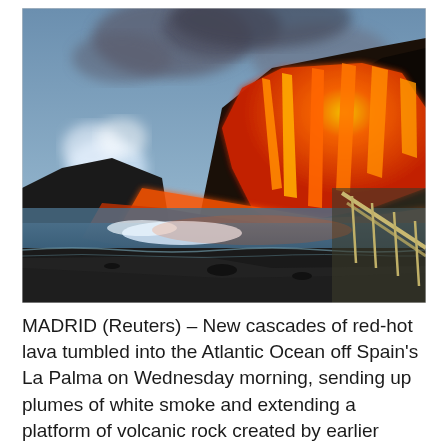[Figure (photo): Lava cascades down a dark volcanic hillside into the Atlantic Ocean at dusk/dawn on La Palma island, Spain. Bright orange-red lava flows streak down the cliff face, with white steam and grey smoke rising where lava meets the water. A dark volcanic sand beach and a metal handrail/walkway are visible in the foreground.]
MADRID (Reuters) – New cascades of red-hot lava tumbled into the Atlantic Ocean off Spain's La Palma on Wednesday morning, sending up plumes of white smoke and extending a platform of volcanic rock created by earlier flows.